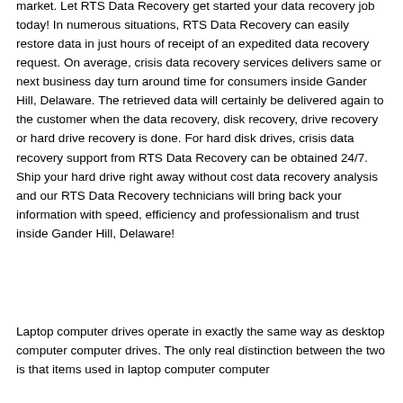market. Let RTS Data Recovery get started your data recovery job today! In numerous situations, RTS Data Recovery can easily restore data in just hours of receipt of an expedited data recovery request. On average, crisis data recovery services delivers same or next business day turn around time for consumers inside Gander Hill, Delaware. The retrieved data will certainly be delivered again to the customer when the data recovery, disk recovery, drive recovery or hard drive recovery is done. For hard disk drives, crisis data recovery support from RTS Data Recovery can be obtained 24/7. Ship your hard drive right away without cost data recovery analysis and our RTS Data Recovery technicians will bring back your information with speed, efficiency and professionalism and trust inside Gander Hill, Delaware!
Laptop computer drives operate in exactly the same way as desktop computer computer drives. The only real distinction between the two is that items used in laptop computer computer